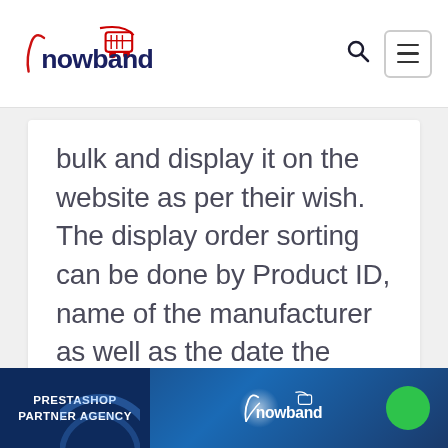[Figure (logo): Knowband logo with shopping cart icon in red and dark blue text]
bulk and display it on the website as per their wish. The display order sorting can be done by Product ID, name of the manufacturer as well as the date the product upload and updation. The [...]
READ MORE
[Figure (infographic): Prestashop Partner Agency banner with Knowband logo on blue background with green circle accent]